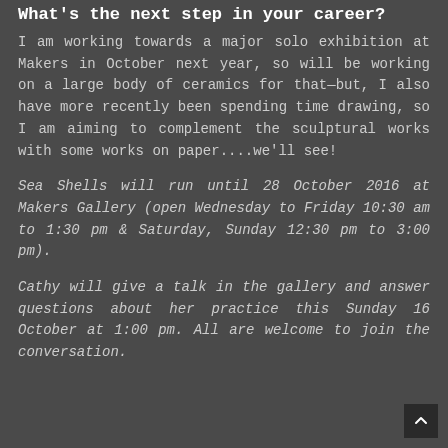What's the next step in your career?
I am working towards a major solo exhibition at Makers in October next year, so will be working on a large body of ceramics for that—but, I also have more recently been spending time drawing, so I am aiming to complement the sculptural works with some works on paper....we'll see!
Sea Shells will run until 28 October 2016 at Makers Gallery (open Wednesday to Friday 10:30 am to 1:30 pm & Saturday, Sunday 12:30 pm to 3:00 pm).
Cathy will give a talk in the gallery and answer questions about her practice this Sunday 16 October at 1:00 pm. All are welcome to join the conversation.